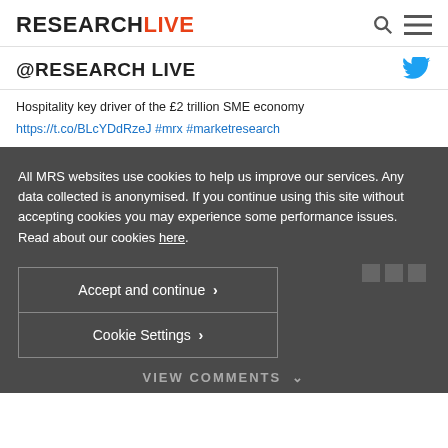RESEARCHLIVE
@RESEARCH LIVE
Hospitality key driver of the £2 trillion SME economy https://t.co/BLcYDdRzeJ #mrx #marketresearch
All MRS websites use cookies to help us improve our services. Any data collected is anonymised. If you continue using this site without accepting cookies you may experience some performance issues. Read about our cookies here.
Accept and continue >
Cookie Settings >
VIEW COMMENTS